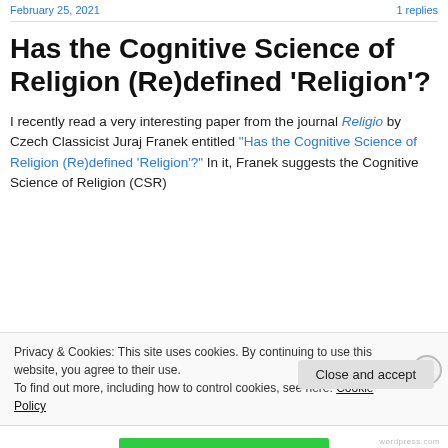February 25, 2021   1 replies
Has the Cognitive Science of Religion (Re)defined 'Religion'?
I recently read a very interesting paper from the journal Religio by Czech Classicist Juraj Franek entitled “Has the Cognitive Science of Religion (Re)defined ‘Religion’?” In it, Franek suggests the Cognitive Science of Religion (CSR)
Privacy & Cookies: This site uses cookies. By continuing to use this website, you agree to their use.
To find out more, including how to control cookies, see here: Cookie Policy